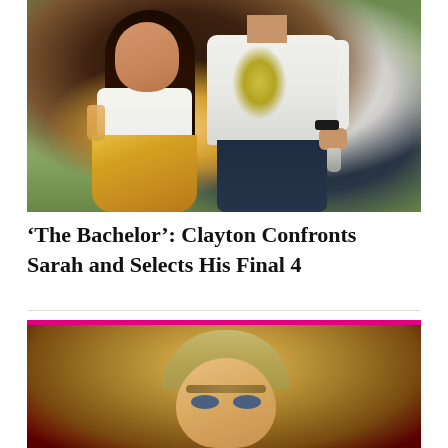[Figure (photo): A woman wearing a white crop top and yellow floral skirt holding a champagne glass, standing next to a man in a white t-shirt with yellow stains and dark pants, outdoors on grass]
‘The Bachelor’: Clayton Confronts Sarah and Selects His Final 4
[Figure (photo): A man with blonde/light hair and roses in the background, with a pink banner at the top of the image]